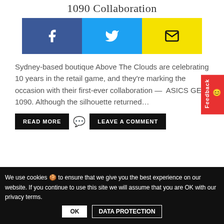1090 Collaboration
[Figure (other): Social share buttons: Facebook (dark blue), Twitter (cyan), Email (yellow)]
Sydney-based boutique Above The Clouds are celebrating 10 years in the retail game, and they're marking the occasion with their first-ever collaboration —  ASICS GEL-1090. Although the silhouette returned…
READ MORE   LEAVE A COMMENT
We use cookies 🍪 to ensure that we give you the best experience on our website. If you continue to use this site we will assume that you are OK with our privacy terms.  OK  DATA PROTECTION